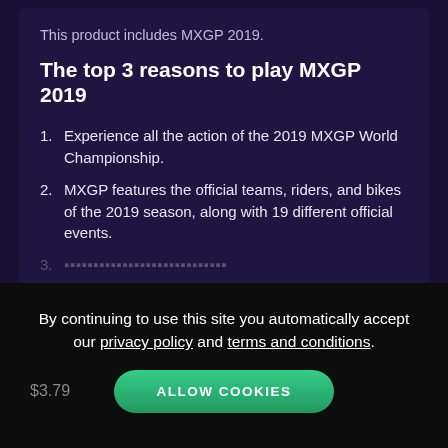This product includes MXGP 2019.
The top 3 reasons to play MXGP 2019
Experience all the action of the 2019 MXGP World Championship.
MXGP features the official teams, riders, and bikes of the 2019 season, along with 19 different official events.
READ MORE
By continuing to use this site you automatically accept our privacy policy and terms and conditions.
ALLOW COOKIES
$3.79